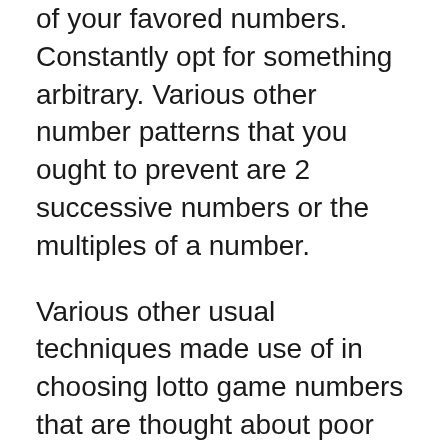of your favored numbers. Constantly opt for something arbitrary. Various other number patterns that you ought to prevent are 2 successive numbers or the multiples of a number.
Various other usual techniques made use of in choosing lotto game numbers that are thought about poor ones are creating patterns or forms on the ticket sheet. One of the most odd points that you can associate with numbers can provide you a concept what to choose. Do not make use of all also numbers or all strange numbers. Your numbers ought to be a mix of both numbers in the complete variety from 1 to 49 incorporated in one of the most arbitrary means feasible without complying with any